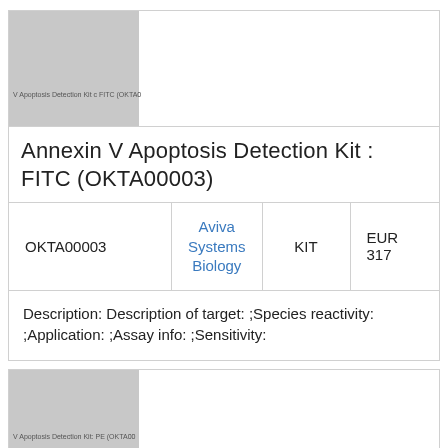[Figure (photo): Product image placeholder for Annexin V Apoptosis Detection Kit: FITC (OKTA00003), gray box with label text]
Annexin V Apoptosis Detection Kit : FITC (OKTA00003)
| ID | Brand | Type | Price |
| --- | --- | --- | --- |
| OKTA00003 | Aviva Systems Biology | KIT | EUR 317 |
Description: Description of target: ;Species reactivity: ;Application: ;Assay info: ;Sensitivity:
[Figure (photo): Product image placeholder for V Apoptosis Detection Kit: PE (OKTA00...), gray box with label text]